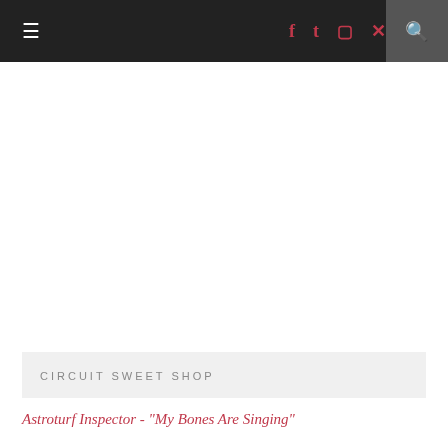≡  f  t  ⊡  p  🔍
CIRCUIT SWEET SHOP
Astroturf Inspector - "My Bones Are Singing"